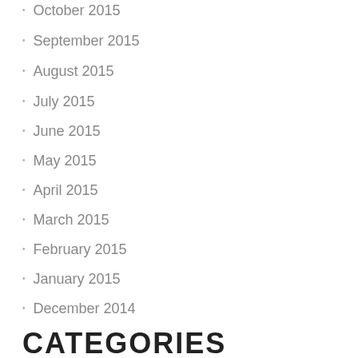October 2015
September 2015
August 2015
July 2015
June 2015
May 2015
April 2015
March 2015
February 2015
January 2015
December 2014
CATEGORIES